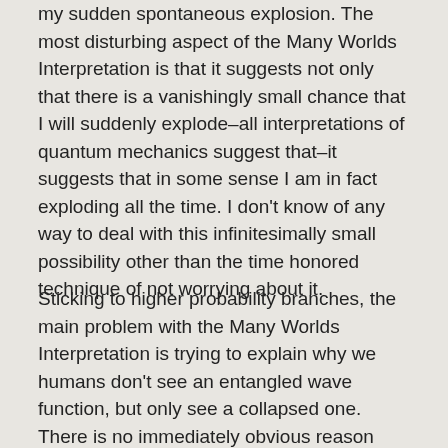my sudden spontaneous explosion. The most disturbing aspect of the Many Worlds Interpretation is that it suggests not only that there is a vanishingly small chance that I will suddenly explode–all interpretations of quantum mechanics suggest that–it suggests that in some sense I am in fact exploding all the time. I don't know of any way to deal with this infinitesimally small possibility other than the time honored technique of not worrying about it.
Sticking to higher probability branches, the main problem with the Many Worlds Interpretation is trying to explain why we humans don't see an entangled wave function, but only see a collapsed one. There is no immediately obvious reason why we could not operate on a quantum view of the universe, and even simultaneously choose different actions. That